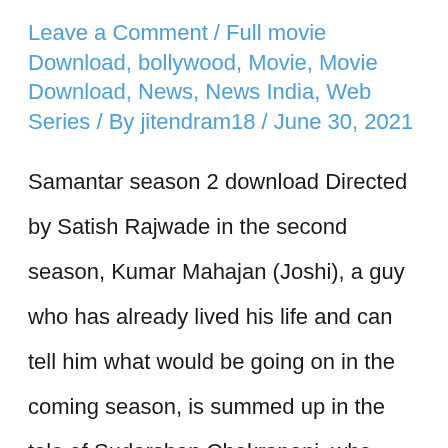Leave a Comment / Full movie Download, bollywood, Movie, Movie Download, News, News India, Web Series / By jitendram18 / June 30, 2021
Samantar season 2 download Directed by Satish Rajwade in the second season, Kumar Mahajan (Joshi), a guy who has already lived his life and can tell him what would be going on in the coming season, is summed up in the tale of Sudarshan Chakrapani, who searches for Sudarshan. Season 2 gives